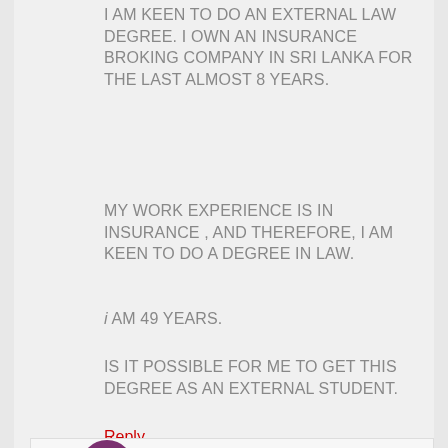I AM KEEN TO DO AN EXTERNAL LAW DEGREE. I OWN AN INSURANCE BROKING COMPANY IN SRI LANKA FOR THE LAST ALMOST 8 YEARS.
MY WORK EXPERIENCE IS IN INSURANCE , AND THEREFORE, I AM KEEN TO DO A DEGREE IN LAW.
i AM 49 YEARS.
IS IT POSSIBLE FOR ME TO GET THIS DEGREE AS AN EXTERNAL STUDENT.
Reply
Subo says